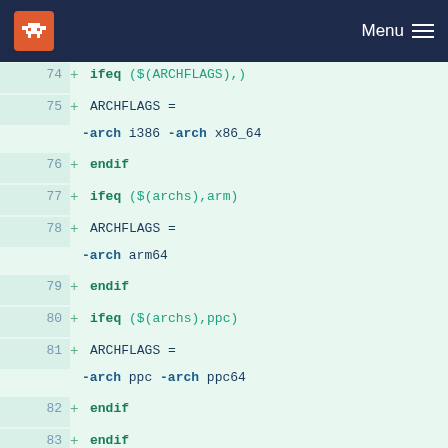Menu
[Figure (screenshot): Code diff view showing Makefile lines 74-87 with additions marked with + sign, syntax highlighted in teal/blue/dark blue on light green background]